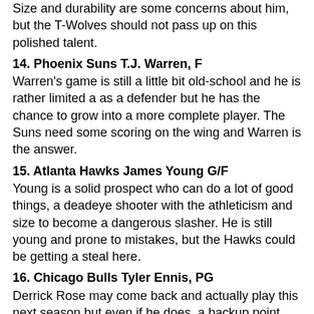Size and durability are some concerns about him, but the T-Wolves should not pass up on this polished talent.
14. Phoenix Suns T.J. Warren, F
Warren's game is still a little bit old-school and he is rather limited a as a defender but he has the chance to grow into a more complete player. The Suns need some scoring on the wing and Warren is the answer.
15. Atlanta Hawks James Young G/F
Young is a solid prospect who can do a lot of good things, a deadeye shooter with the athleticism and size to become a dangerous slasher. He is still young and prone to mistakes, but the Hawks could be getting a steal here.
16. Chicago Bulls Tyler Ennis, PG
Derrick Rose may come back and actually play this next season but even if he does, a backup point guard with no health concerns is a must for Chicago. Ennis is the perfect fit right here for the Bulls, he is still very young but he acts 10 years older than he is and is extremely mature.
17. Boston Celtics Zach LaVine, G
LaVine is still a tweener, he doesn't fit into a position at all and his shot has a long way to go, but it will become increasingly